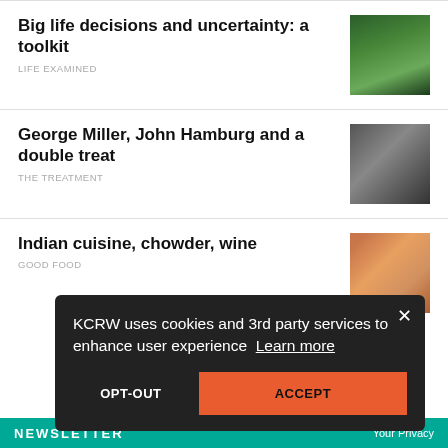Big life decisions and uncertainty: a toolkit — LIFE EXAMINED
George Miller, John Hamburg and a double treat — THE TREATMENT
Indian cuisine, chowder, wine — GOOD FOOD
KCRW uses cookies and 3rd party services to enhance user experience  Learn more
OPT-OUT
ACCEPT
NEWSLETTER
Your Privacy